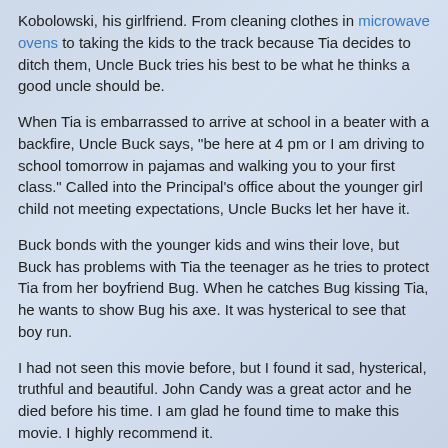Kobolowski, his girlfriend. From cleaning clothes in microwave ovens to taking the kids to the track because Tia decides to ditch them, Uncle Buck tries his best to be what he thinks a good uncle should be.
When Tia is embarrassed to arrive at school in a beater with a backfire, Uncle Buck says, "be here at 4 pm or I am driving to school tomorrow in pajamas and walking you to your first class." Called into the Principal's office about the younger girl child not meeting expectations, Uncle Bucks let her have it.
Buck bonds with the younger kids and wins their love, but Buck has problems with Tia the teenager as he tries to protect Tia from her boyfriend Bug. When he catches Bug kissing Tia, he wants to show Bug his axe. It was hysterical to see that boy run.
I had not seen this movie before, but I found it sad, hysterical, truthful and beautiful. John Candy was a great actor and he died before his time. I am glad he found time to make this movie. I highly recommend it.